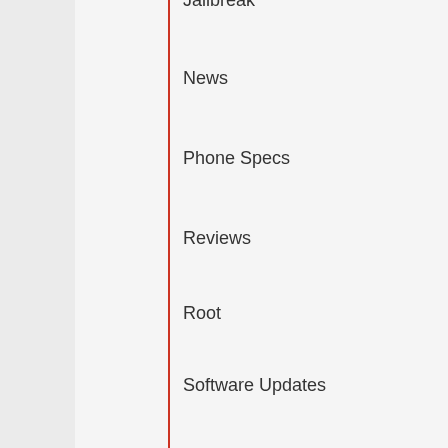Jailbreak
News
Phone Specs
Reviews
Root
Software Updates
Tips & Tricks
Tools
Tutorials
Tweaks
Uncategorized